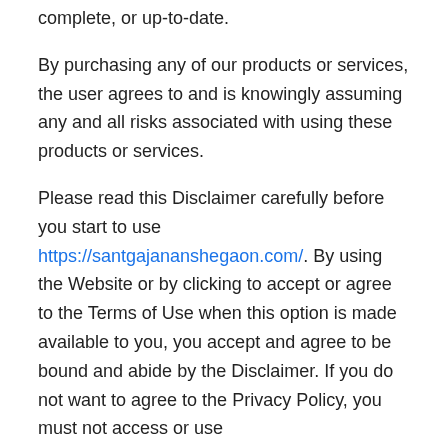complete, or up-to-date.
By purchasing any of our products or services, the user agrees to and is knowingly assuming any and all risks associated with using these products or services.
Please read this Disclaimer carefully before you start to use https://santgajananshegaon.com/. By using the Website or by clicking to accept or agree to the Terms of Use when this option is made available to you, you accept and agree to be bound and abide by the Disclaimer. If you do not want to agree to the Privacy Policy, you must not access or use https://santgajananshegaon.com/
TO THE MAXIMUM EXTENT PERMITTED BY LAW, THE PRODUCTS, SERVICES, AND INFORMATION ON THIS WEBSITE AND OR BLOG are PROVIDED “AS IS” AND WITH ALL FAULTS AND https://santgajananshegaon.com/ MAKES NO PROMISES, REPRESENTATIONS, OR WARRANTIES, EITHER EXPRESS, IMPLIED, STATUTORY, OR OTHERWISE, WITH RESPECT TO THE PRODUCTS, SERVICES, AND INFORMATION, INCLUDING ITS